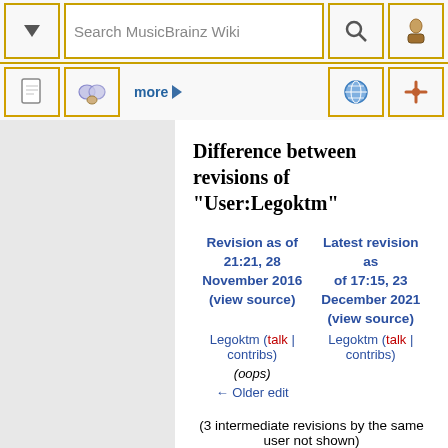Search MusicBrainz Wiki
Difference between revisions of "User:Legoktm"
| Revision as of 21:21, 28 November 2016 (view source) | Latest revision as of 17:15, 23 December 2021 (view source) |
| --- | --- |
| Legoktm (talk | contribs) | Legoktm (talk | contribs) |
| (oops) |  |
| ← Older edit |  |
(3 intermediate revisions by the same user not shown)
Line 21:	Line 21: